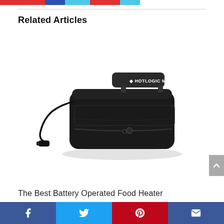social share bar top
Related Articles
[Figure (photo): Black HotLogic Mini portable food warmer bag with handle strap labeled 'HOTLOGIC MINI' and a car charger plug cord attached on the left side, zipper along the bottom front.]
The Best Battery Operated Food Heater
Facebook, Twitter, Pinterest, Email share buttons